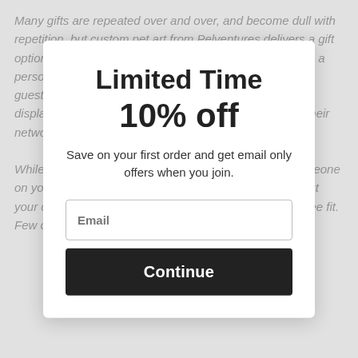Many gifts are repeated over and over, and become dull with repetition, but custom pet art from Pelventures delivers a gift option separate from the rest that offers a fresh idea with a personalized design that you know absolutely know your guest of honor will adore and take the greatest pride in displaying proudly for others lovers in the family and in their network of friends. →
Limited Time
10% off
Save on your first order and get email only offers when you join.
Email
Continue
While you decide on getting the personalized art for someone on your list, you might like the star of the show as you put your own unique finishing touch on them however you see fit. Few other options exist for creating such a one-of-a-k